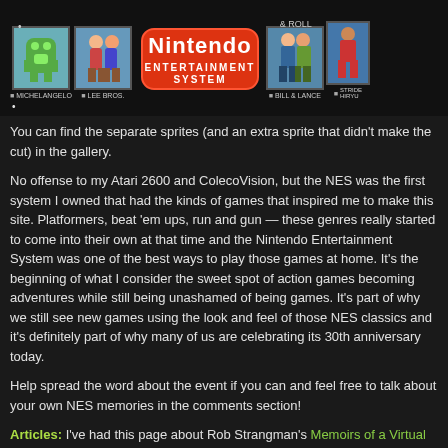[Figure (screenshot): NES game sprites banner showing Michelangelo, Lee Bros., Nintendo Entertainment System logo, Bill & Lance, and Strider Hiryu characters on dark background with checkboxes and labels]
You can find the separate sprites (and an extra sprite that didn't make the cut) in the gallery.
No offense to my Atari 2600 and ColecoVision, but the NES was the first system I owned that had the kinds of games that inspired me to make this site. Platformers, beat 'em ups, run and gun — these genres really started to come into their own at that time and the Nintendo Entertainment System was one of the best ways to play those games at home. It's the beginning of what I consider the sweet spot of action games becoming adventures while still being unashamed of being games. It's part of why we still see new games using the look and feel of those NES classics and it's definitely part of why many of us are celebrating its 30th anniversary today.
Help spread the word about the event if you can and feel free to talk about your own NES memories in the comments section!
Articles: I've had this page about Rob Strangman's Memoirs of a Virtual Caveman but didn't finish it until now. It's made in the old, abandoned game review format because I put things in the info section that I thought were funny at the time (sigh). As it says on the page, I'm probably biased because I drew the cover, but I really dug that book and the voice it gives to the video game community. The article is here and I hope you give Rob's book a chance.
Arcade Quartermaster's latest batch of game shrines is monster-themed and feature